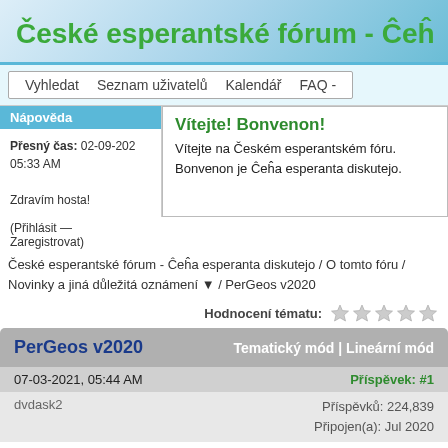České esperantské fórum - Ĉeĥ
Vyhledat  Seznam uživatelů  Kalendář  FAQ -
Nápověda
Vítejte! Bonvenon!
Vítejte na Českém esperantském fóru. Bonvenon je Ĉeĥa esperanta diskutejo.
Přesný čas: 02-09-2021, 05:33 AM
Zdravím hosta!
(Přihlásit — Zaregistrovat)
České esperantské fórum - Ĉeĥa esperanta diskutejo / O tomto fóru / Novinky a jiná důležitá oznámení ▼ / PerGeos v2020
Hodnocení tématu:
PerGeos v2020
Tematický mód | Lineární mód
07-03-2021, 05:44 AM
Příspěvek: #1
dvdask2
Příspěvků: 224,839
Připojen(a): Jul 2020